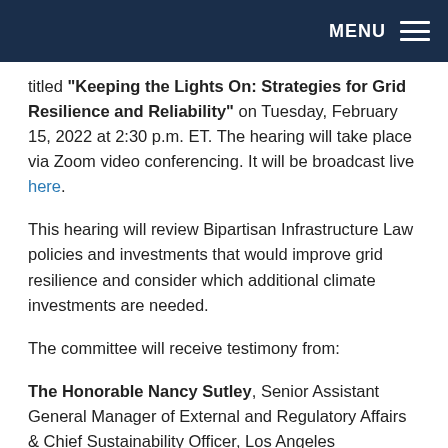MENU
titled "Keeping the Lights On: Strategies for Grid Resilience and Reliability" on Tuesday, February 15, 2022 at 2:30 p.m. ET. The hearing will take place via Zoom video conferencing. It will be broadcast live here.
This hearing will review Bipartisan Infrastructure Law policies and investments that would improve grid resilience and consider which additional climate investments are needed.
The committee will receive testimony from:
The Honorable Nancy Sutley, Senior Assistant General Manager of External and Regulatory Affairs & Chief Sustainability Officer, Los Angeles Department of Water & Power, Se...